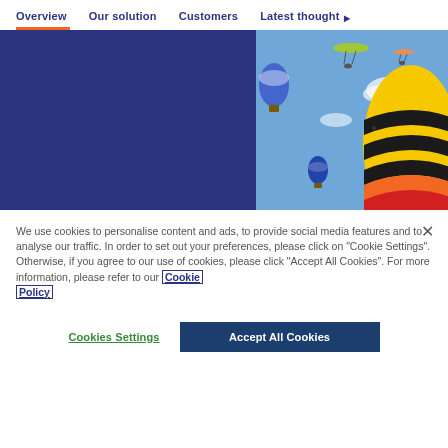Overview | Our solution | Customers | Latest thought ▶
[Figure (photo): Hero banner split: left half is solid deep navy blue; right half shows colorful hot air balloons and paragliders against a blue sky with clouds. A large yellow-black-orange-red striped balloon dominates the right side.]
We use cookies to personalise content and ads, to provide social media features and to analyse our traffic. In order to set out your preferences, please click on "Cookie Settings". Otherwise, if you agree to our use of cookies, please click "Accept All Cookies". For more information, please refer to our Cookie Policy
Cookies Settings
Accept All Cookies